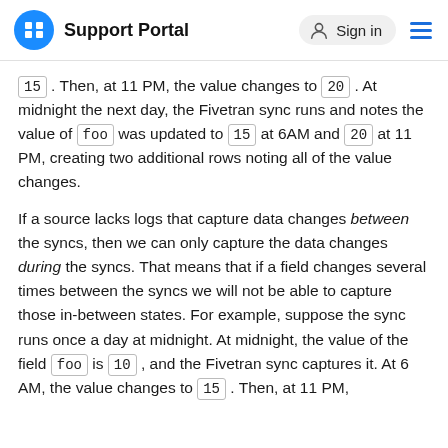Support Portal  Sign in
15 . Then, at 11 PM, the value changes to 20 . At midnight the next day, the Fivetran sync runs and notes the value of foo was updated to 15 at 6AM and 20 at 11 PM, creating two additional rows noting all of the value changes.
If a source lacks logs that capture data changes between the syncs, then we can only capture the data changes during the syncs. That means that if a field changes several times between the syncs we will not be able to capture those in-between states. For example, suppose the sync runs once a day at midnight. At midnight, the value of the field foo is 10 , and the Fivetran sync captures it. At 6 AM, the value changes to 15 . Then, at 11 PM,